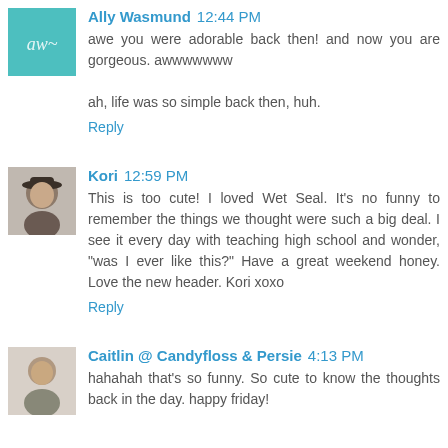Ally Wasmund 12:44 PM
awe you were adorable back then! and now you are gorgeous. awwwwwww

ah, life was so simple back then, huh.
Reply
Kori 12:59 PM
This is too cute! I loved Wet Seal. It's no funny to remember the things we thought were such a big deal. I see it every day with teaching high school and wonder, "was I ever like this?" Have a great weekend honey. Love the new header. Kori xoxo
Reply
Caitlin @ Candyfloss & Persie 4:13 PM
hahahah that's so funny. So cute to know the thoughts back in the day. happy friday!